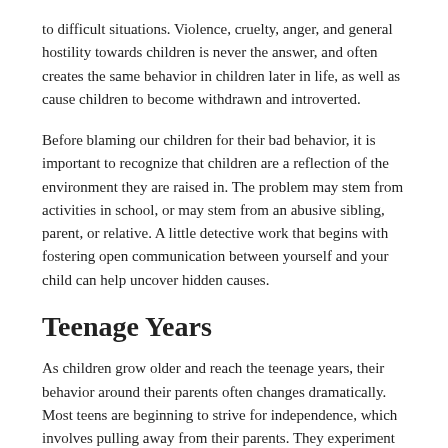to difficult situations.  Violence, cruelty, anger, and general hostility towards children is never the answer, and often creates the same behavior in children later in life, as well as cause children to become withdrawn and introverted.
Before blaming our children for their bad behavior, it is important to recognize that children are a reflection of the environment they are raised in.  The problem may stem from activities in school, or may stem from an abusive sibling, parent, or relative.  A little detective work that begins with fostering open communication between yourself and your child can help uncover hidden causes.
Teenage Years
As children grow older and reach the teenage years, their behavior around their parents often changes dramatically.  Most teens are beginning to strive for independence, which involves pulling away from their parents.  They experiment with different friends, different clothes, and make-up, trying on many different faces until they find their own.  They are forming their own moral code, not just based on what their parents have taught them, but based on the behavior of their peers.  The ideas and viewpoints of their peers can sometimes become more